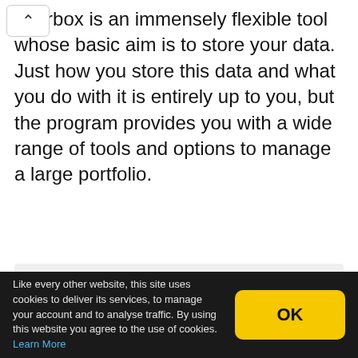nderbox is an immensely flexible tool whose basic aim is to store your data. Just how you store this data and what you do with it is entirely up to you, but the program provides you with a wide range of tools and options to manage a large portfolio.
Verdict:
Initial confusing, Tinderbox is in fact a hugely versatile tool that can be used to make sense of your notes.
Like every other website, this site uses cookies to deliver its services, to manage your account and to analyse traffic. By using this website you agree to the use of cookies. Learn More